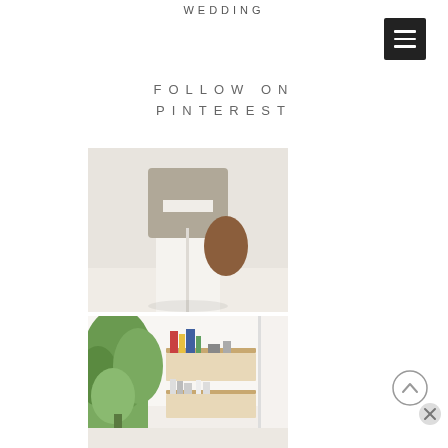WEDDING
FOLLOW ON
PINTEREST
[Figure (photo): Person wearing a beige/grey knit top and white wide-leg trousers, holding a large brown leather tote bag. Minimal fashion editorial style.]
[Figure (photo): Minimalist interior with a plant, white walls, and two wooden wall shelves holding books and decorative objects.]